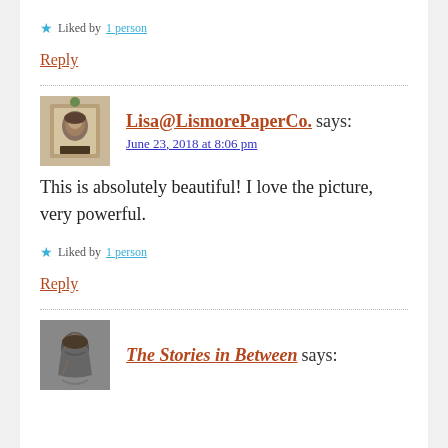Liked by 1 person
Reply
Lisa@LismorePaperCo. says:
June 23, 2018 at 8:06 pm
This is absolutely beautiful! I love the picture, very powerful.
Liked by 1 person
Reply
The Stories in Between says: